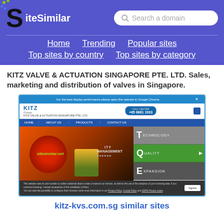SiteSimilar - Search a domain
Home | Trending | Popular sites | Top sites by country | Top sites by category
KITZ VALVE & ACTUATION SINGAPORE PTE. LTD. Sales, marketing and distribution of valves in Singapore.
[Figure (screenshot): Screenshot of kitz-kvs.com.sg website showing KITZ Group header, navigation bar, and homepage with valve imagery, TECHNOLOGY, QUALITY, EXPANSION panels, and cookie consent bar.]
kitz-kvs.com.sg similar sites